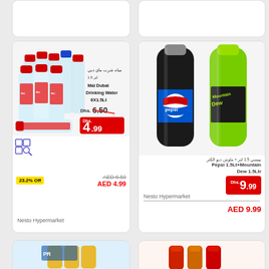[Figure (photo): Partial top-left product card (cropped)]
[Figure (photo): Partial top-right product card (cropped)]
[Figure (photo): Mai Dubai Drinking Water 6x1.5Lt bottles]
مياه شرب ماي دبي 1.5 لتر
Mai Dubai Drinking Water 6X1.5Lt
Dhs. 6.50
4.99 Dhs.
23.2% Off
AED 6.50
AED 4.99
Nesto Hypermarket
[Figure (photo): Pepsi 1.5Lt and Mountain Dew 1.5Ltr bottles]
بيبسي 1.5 لتر + ماونتن ديو الكثر
Pepsi 1.5Lt+Mountain Dew 1.5Ltr
9.99 Dhs.
AED 9.99
Nesto Hypermarket
[Figure (photo): Partial bottom-left product card (cropped)]
[Figure (photo): Partial bottom-right product card (cropped)]